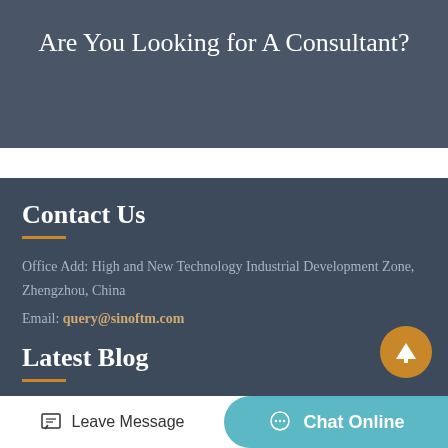Are You Looking for A Consultant?
Contact Us
Office Add: High and New Technology Industrial Development Zone, Zhengzhou, China
Email: query@sinoftm.com
Latest Blog
unique sand dryer
Leave Message
Chat Online